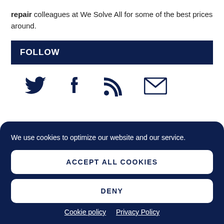repair colleagues at We Solve All for some of the best prices around.
FOLLOW
[Figure (infographic): Social media icons: Twitter bird, Facebook f, RSS feed, Email envelope]
We use cookies to optimize our website and our service.
ACCEPT ALL COOKIES
DENY
Cookie policy  Privacy Policy